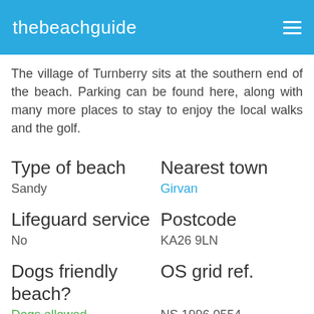thebeachguide
The village of Turnberry sits at the southern end of the beach. Parking can be found here, along with many more places to stay to enjoy the local walks and the golf.
Type of beach
Sandy
Nearest town
Girvan
Lifeguard service
No
Postcode
KA26 9LN
Dogs friendly beach?
Dogs allowed
OS grid ref.
NS 1996 0554